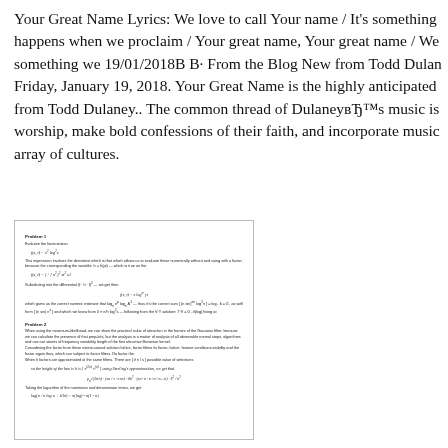Your Great Name Lyrics: We love to call Your name / It's something happens when we proclaim / Your great name, Your great name / We something we 19/01/2018B B· From the Blog New from Todd Dulaney Friday, January 19, 2018. Your Great Name is the highly anticipated from Todd Dulaney.. The common thread of DulaneyвЂ™s music is worship, make bold confessions of their faith, and incorporate music array of cultures.
[Figure (other): Embedded document page showing mathematical problems with formulas and text, including Problem 1 and Problem 2 sections with equations and derivations.]